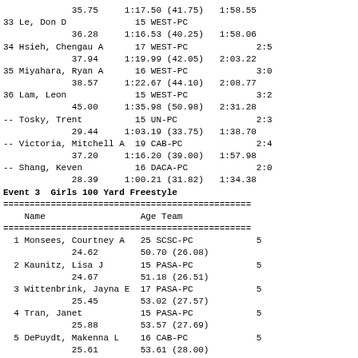| Place | Name | Age | Team | Split | Time |
| --- | --- | --- | --- | --- | --- |
|  | 35.75 |  | 1:17.50 (41.75) |  | 1:58.55 |
| 33 | Le, Don D | 15 | WEST-PC |  |  |
|  | 36.28 |  | 1:16.53 (40.25) |  | 1:58.06 |
| 34 | Hsieh, Chengau A | 17 | WEST-PC |  | 2:5 |
|  | 37.94 |  | 1:19.99 (42.05) |  | 2:03.22 |
| 35 | Miyahara, Ryan A | 16 | WEST-PC |  | 3:0 |
|  | 38.57 |  | 1:22.67 (44.10) |  | 2:08.77 |
| 36 | Lam, Leon | 15 | WEST-PC |  | 3:2 |
|  | 45.00 |  | 1:35.98 (50.98) |  | 2:31.28 |
| -- | Tosky, Trent | 15 | UN-PC |  | 2:3 |
|  | 29.44 |  | 1:03.19 (33.75) |  | 1:38.70 |
| -- | Victoria, Mitchell A | 19 | CAB-PC |  | 2:4 |
|  | 37.20 |  | 1:16.20 (39.00) |  | 1:57.98 |
| -- | Shang, Keven | 16 | DACA-PC |  | 2:0 |
|  | 28.39 |  | 1:00.21 (31.82) |  | 1:34.38 |
Event 3  Girls 100 Yard Freestyle
| Place | Name | Age | Team | Finals |
| --- | --- | --- | --- | --- |
| 1 | Monsees, Courtney A | 25 | SCSC-PC | 5 |
|  | 24.62 |  | 50.70 (26.08) |  |
| 2 | Kaunitz, Lisa J | 15 | PASA-PC | 5 |
|  | 24.67 |  | 51.18 (26.51) |  |
| 3 | Wittenbrink, Jayna E | 17 | PASA-PC | 5 |
|  | 25.45 |  | 53.02 (27.57) |  |
| 4 | Tran, Janet | 15 | PASA-PC | 5 |
|  | 25.88 |  | 53.57 (27.69) |  |
| 5 | DePuydt, Makenna L | 16 | CAB-PC | 5 |
|  | 25.61 |  | 53.61 (28.00) |  |